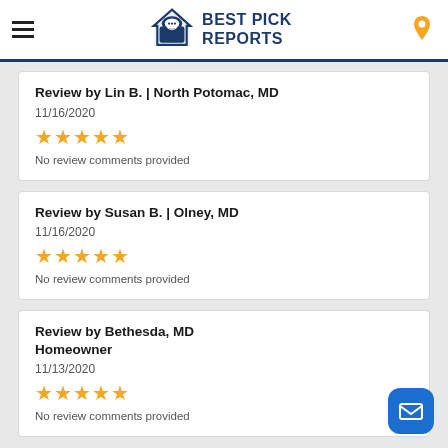Best Pick Reports
Review by Lin B. | North Potomac, MD
11/16/2020
★★★★★
No review comments provided
Review by Susan B. | Olney, MD
11/16/2020
★★★★★
No review comments provided
Review by Bethesda, MD Homeowner
11/13/2020
★★★★★
No review comments provided